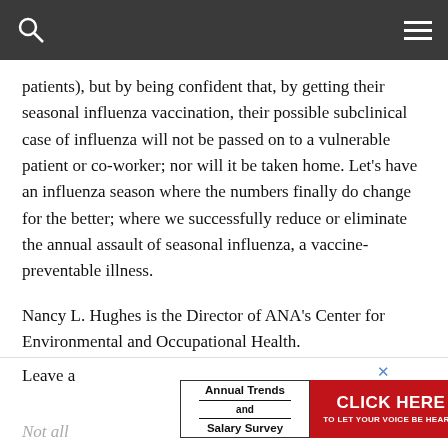patients), but by being confident that, by getting their seasonal influenza vaccination, their possible subclinical case of influenza will not be passed on to a vulnerable patient or co-worker; nor will it be taken home. Let's have an influenza season where the numbers finally do change for the better; where we successfully reduce or eliminate the annual assault of seasonal influenza, a vaccine-preventable illness.
Nancy L. Hughes is the Director of ANA's Center for Environmental and Occupational Health.
Leave a
[Figure (screenshot): Advertisement banner: Annual Trends and Salary Survey with a red Click Here button to let your voice be heard]
Not all
are